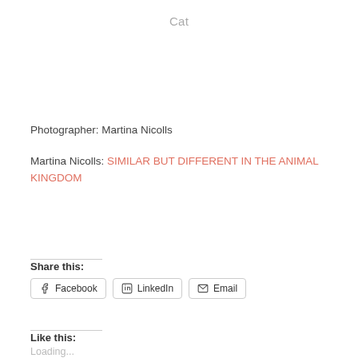Cat
Photographer: Martina Nicolls
Martina Nicolls: SIMILAR BUT DIFFERENT IN THE ANIMAL KINGDOM
Share this:
Facebook  LinkedIn  Email
Like this:
Loading...